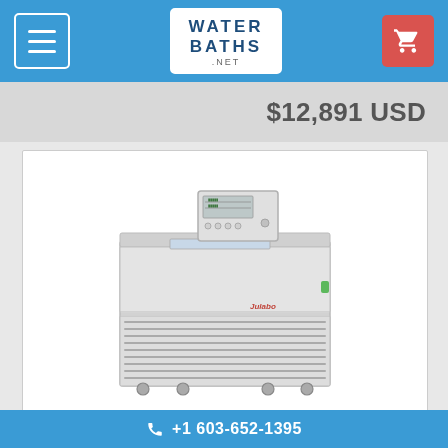WATER BATHS .NET
$12,891 USD
[Figure (photo): Laboratory water bath / refrigerated circulator unit (large floor-standing model with control unit on top, ventilation grille at bottom, on wheels)]
+1 603-652-1395